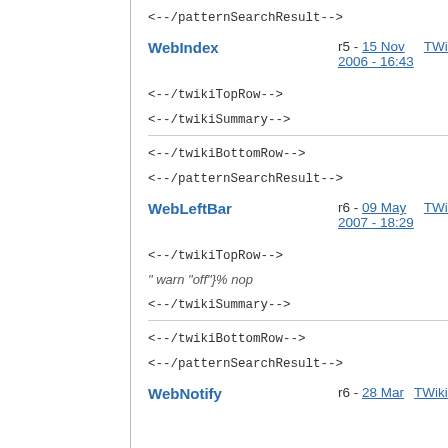<--/patternSearchResult-->
WebIndex   r5 - 15 Nov 2006 - 16:43   TWikiContribut
<--/twikiTopRow-->
<--/twikiSummary-->
<--/twikiBottomRow-->
<--/patternSearchResult-->
WebLeftBar   r6 - 09 May 2007 - 18:29   TWikiContribut
<--/twikiTopRow-->
" warn "off"}% nop
<--/twikiSummary-->
<--/twikiBottomRow-->
<--/patternSearchResult-->
WebNotify   r6 - 28 Mar   TWikiContribut